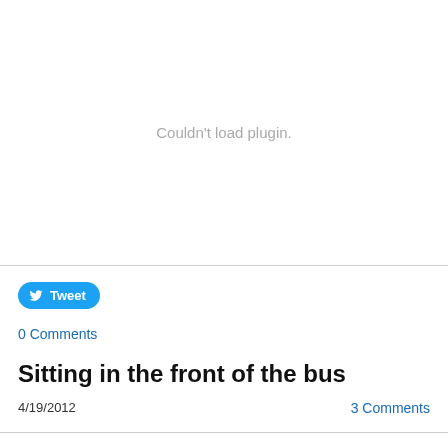Couldn't load plugin.
[Figure (other): Tweet button with Twitter bird icon]
0 Comments
Sitting in the front of the bus
4/19/2012
3 Comments